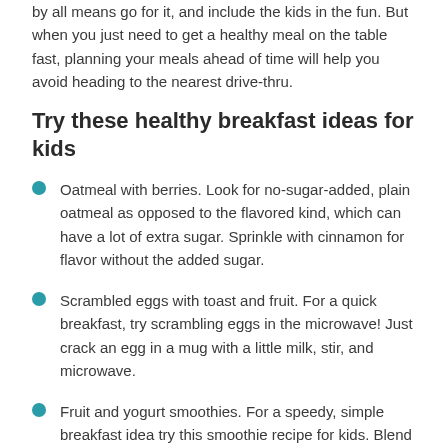by all means go for it, and include the kids in the fun. But when you just need to get a healthy meal on the table fast, planning your meals ahead of time will help you avoid heading to the nearest drive-thru.
Try these healthy breakfast ideas for kids
Oatmeal with berries. Look for no-sugar-added, plain oatmeal as opposed to the flavored kind, which can have a lot of extra sugar. Sprinkle with cinnamon for flavor without the added sugar.
Scrambled eggs with toast and fruit. For a quick breakfast, try scrambling eggs in the microwave! Just crack an egg in a mug with a little milk, stir, and microwave.
Fruit and yogurt smoothies. For a speedy, simple breakfast idea try this smoothie recipe for kids. Blend your favorite frozen fruit, milk, and yogurt in the blender until smooth. Add chia seeds and flaxseed